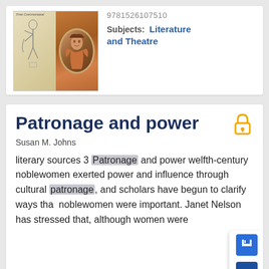[Figure (illustration): Book cover image showing a historical figure in period dress on the right half and illustrated text/figures on the left half]
9781526107510
Subjects: Literature and Theatre
Patronage and power
Susan M. Johns
literary sources 3 Patronage and power welfth-century noblewomen exerted power and influence through cultural patronage, and scholars have begun to clarify ways that noblewomen were important. Janet Nelson has stressed that, although women were